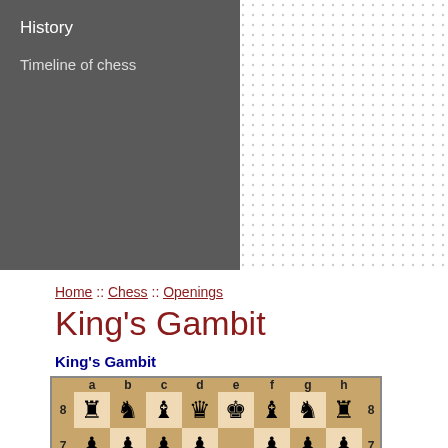History
Timeline of chess
Home :: Chess :: Openings
King's Gambit
King's Gambit
[Figure (other): Chess board diagram showing the King's Gambit opening position after 1.e4 e5 2.f4 exf4, with chess pieces in their standard starting positions modified by these moves.]